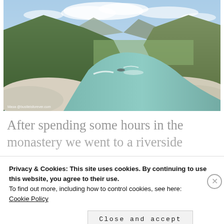[Figure (photo): Landscape photo of a river valley in Bhutan with turquoise-green river winding between rocky banks, mountains and green hills in background, blue sky with clouds. Watermark credit: 'Masa @bustleisforever.com']
After spending some hours in the monastery we went to a riverside
Privacy & Cookies: This site uses cookies. By continuing to use this website, you agree to their use.
To find out more, including how to control cookies, see here:
Cookie Policy
Close and accept